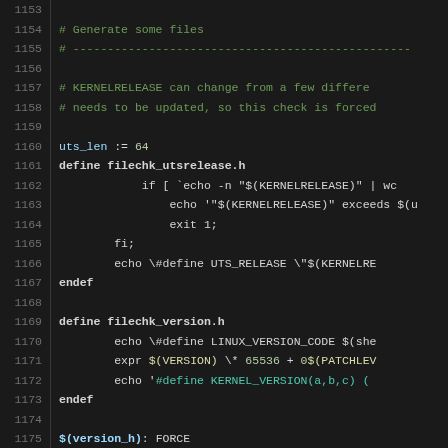[Figure (screenshot): Source code screenshot showing a Makefile snippet for Linux kernel build system, lines 1153-1182, with syntax highlighting on dark background. Content includes definitions for filechk_utsrelease.h, filechk_version.h, version_h target, include/generated/utsrelease.h target, and PHONY variable.]